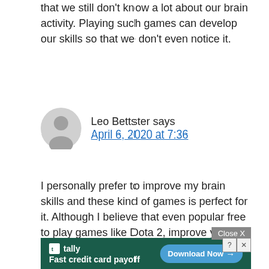that we still don't know a lot about our brain activity. Playing such games can develop our skills so that we don't even notice it.
Leo Bettster says
April 6, 2020 at 7:36
I personally prefer to improve my brain skills and these kind of games is perfect for it. Although I believe that even popular free to play games like Dota 2, improve your thinking. Only games which are awful for humanity are slots in online casinos; they don't improve your brains at all and make poor people even poorer.
[Figure (other): Advertisement banner for Tally app - Fast credit card payoff with Download Now button]